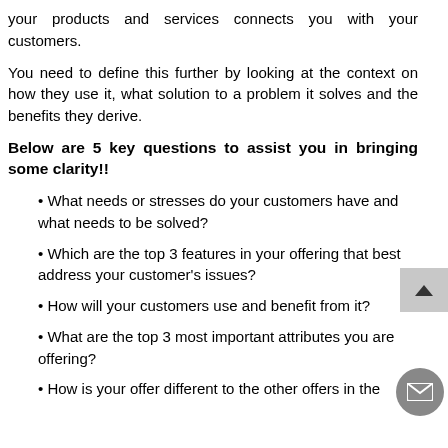your products and services connects you with your customers.
You need to define this further by looking at the context on how they use it, what solution to a problem it solves and the benefits they derive.
Below are 5 key questions to assist you in bringing some clarity!!
• What needs or stresses do your customers have and what needs to be solved?
• Which are the top 3 features in your offering that best address your customer's issues?
• How will your customers use and benefit from it?
• What are the top 3 most important attributes you are offering?
• How is your offer different to the other offers in the